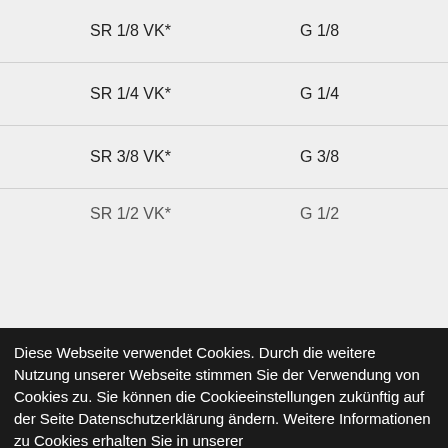|  |  |
| --- | --- |
| SR 1/8 VK* | G 1/8 |
| SR 1/4 VK* | G 1/4 |
| SR 3/8 VK* | G 3/8 |
| SR 1/2 VK* | G 1/2 |
Diese Webseite verwendet Cookies. Durch die weitere Nutzung unserer Webseite stimmen Sie der Verwendung von Cookies zu. Sie können die Cookieeinstellungen zukünftig auf der Seite Datenschutzerklärung ändern. Weitere Informationen zu Cookies erhalten Sie in unserer
Ablehnen
(Nur notwendige Cookies akzeptieren)
Alle erlauben
Einstellungen anpassen